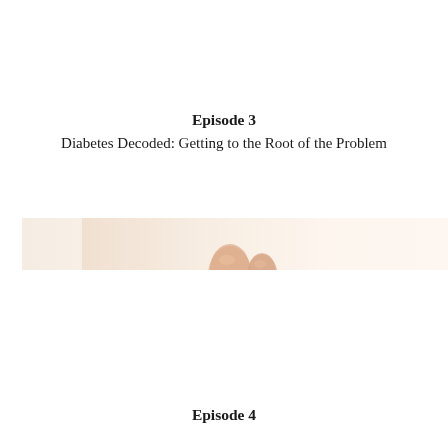Episode 3
Diabetes Decoded: Getting to the Root of the Problem
[Figure (photo): A cropped horizontal strip image showing a close-up of fingers, likely related to blood glucose testing, with warm peach/cream tones against a light background.]
Episode 4